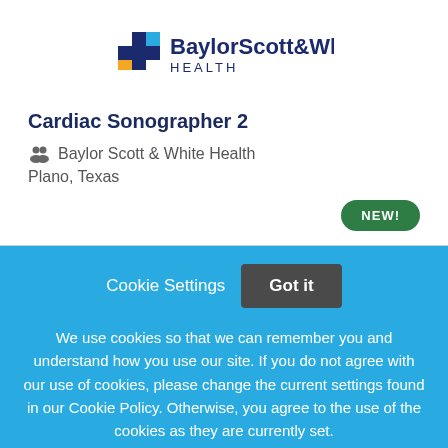[Figure (logo): Baylor Scott & White Health logo with blue and gold cross icon]
Cardiac Sonographer 2
Baylor Scott & White Health
Plano, Texas
NEW!
Cookie Settings   Got it
We use cookies so that we can remember you and understand how you use our site. If you do not agree with our use of cookies, please change the current settings found in our Cookie Policy. Otherwise, you agree to the use of the cookies as they are currently set.